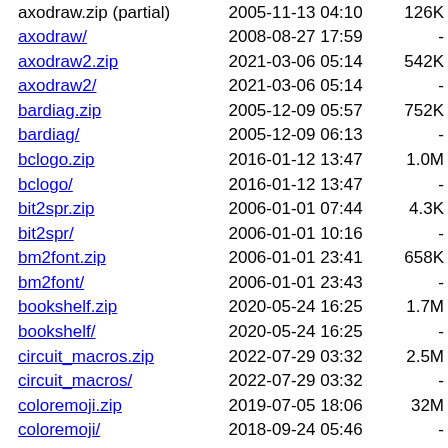| Name | Date | Size |
| --- | --- | --- |
| axodraw.zip (cut) | 2005-11-13 04:10 | 126K |
| axodraw/ | 2008-08-27 17:59 | - |
| axodraw2.zip | 2021-03-06 05:14 | 542K |
| axodraw2/ | 2021-03-06 05:14 | - |
| bardiag.zip | 2005-12-09 05:57 | 752K |
| bardiag/ | 2005-12-09 06:13 | - |
| bclogo.zip | 2016-01-12 13:47 | 1.0M |
| bclogo/ | 2016-01-12 13:47 | - |
| bit2spr.zip | 2006-01-01 07:44 | 4.3K |
| bit2spr/ | 2006-01-01 10:16 | - |
| bm2font.zip | 2006-01-01 23:41 | 658K |
| bm2font/ | 2006-01-01 23:43 | - |
| bookshelf.zip | 2020-05-24 16:25 | 1.7M |
| bookshelf/ | 2020-05-24 16:25 | - |
| circuit_macros.zip | 2022-07-29 03:32 | 2.5M |
| circuit_macros/ | 2022-07-29 03:32 | - |
| coloremoji.zip | 2019-07-05 18:06 | 32M |
| coloremoji/ | 2018-09-24 05:46 | - |
| colorsep/ | 2009-09-15 20:53 | - |
| degrade.zip | 2006-01-02 07:28 | 2.4K |
| degrade/ | 2006-01-02 07:43 | - |